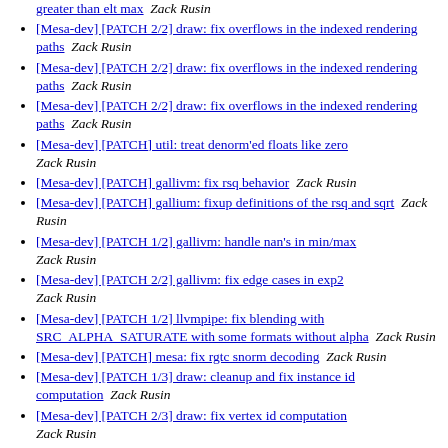[Mesa-dev] [PATCH 2/2] draw: fix overflows in the indexed rendering paths   Zack Rusin
[Mesa-dev] [PATCH 2/2] draw: fix overflows in the indexed rendering paths   Zack Rusin
[Mesa-dev] [PATCH 2/2] draw: fix overflows in the indexed rendering paths   Zack Rusin
[Mesa-dev] [PATCH] util: treat denorm'ed floats like zero   Zack Rusin
[Mesa-dev] [PATCH] gallivm: fix rsq behavior   Zack Rusin
[Mesa-dev] [PATCH] gallium: fixup definitions of the rsq and sqrt   Zack Rusin
[Mesa-dev] [PATCH 1/2] gallivm: handle nan's in min/max   Zack Rusin
[Mesa-dev] [PATCH 2/2] gallivm: fix edge cases in exp2   Zack Rusin
[Mesa-dev] [PATCH 1/2] llvmpipe: fix blending with SRC_ALPHA_SATURATE with some formats without alpha   Zack Rusin
[Mesa-dev] [PATCH] mesa: fix rgtc snorm decoding   Zack Rusin
[Mesa-dev] [PATCH 1/3] draw: cleanup and fix instance id computation   Zack Rusin
[Mesa-dev] [PATCH 2/3] draw: fix vertex id computation   Zack Rusin